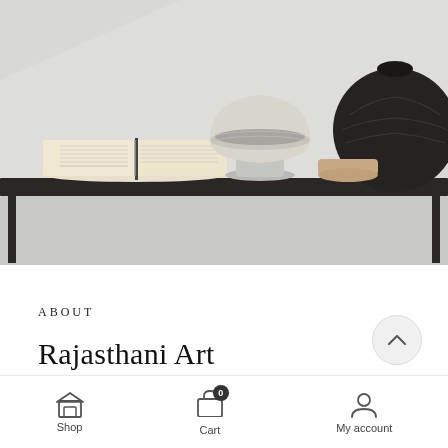[Figure (photo): A dark wooden console table with decorative items: an open book on the left, a large white stone bowl on a pedestal in the center, a round dark ceramic vase on the right, and a small wooden lidded box, against a light gray wall background.]
ABOUT
Rajasthani Art
Shop  Cart  My account